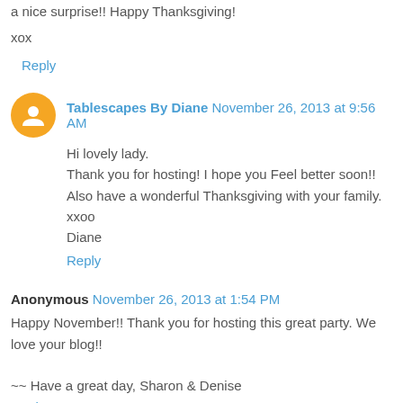a nice surprise!! Happy Thanksgiving!
xox
Reply
Tablescapes By Diane  November 26, 2013 at 9:56 AM
Hi lovely lady.
Thank you for hosting! I hope you Feel better soon!! Also have a wonderful Thanksgiving with your family.
xxoo
Diane
Reply
Anonymous  November 26, 2013 at 1:54 PM
Happy November!! Thank you for hosting this great party. We love your blog!!

~~ Have a great day, Sharon & Denise
Reply